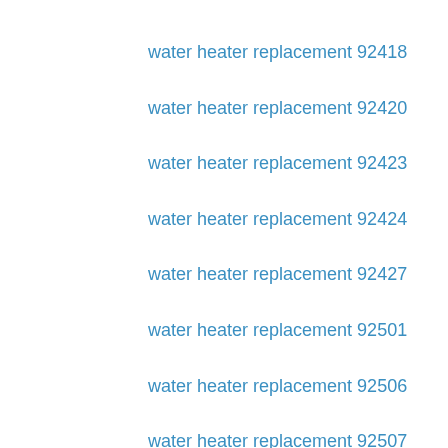water heater replacement 92418
water heater replacement 92420
water heater replacement 92423
water heater replacement 92424
water heater replacement 92427
water heater replacement 92501
water heater replacement 92506
water heater replacement 92507
water heater replacement 92508
water heater replacement 92518